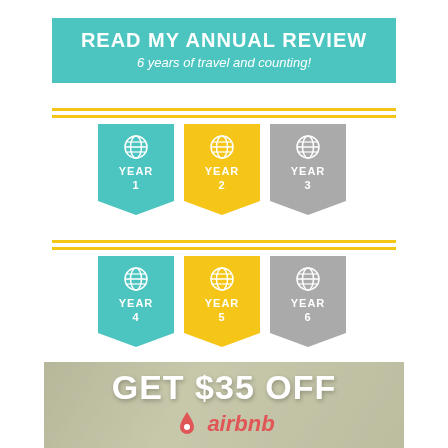READ MY ANNUAL REVIEW
6 years of travel and counting!
[Figure (infographic): Six banner/ribbon badges labeled YEAR 1 through YEAR 6, arranged in two rows of three. Each badge has a globe icon and a pennant/ribbon shape pointing downward. Row 1: YEAR 1 (teal), YEAR 2 (yellow), YEAR 3 (gray). Row 2: YEAR 4 (teal), YEAR 5 (yellow), YEAR 6 (gray). Separated by double yellow horizontal lines.]
[Figure (infographic): Airbnb advertisement banner with muted outdoor background photo. Large white bold text: GET $35 OFF. Airbnb logo with coral/red triangle icon and coral italic text: airbnb.]